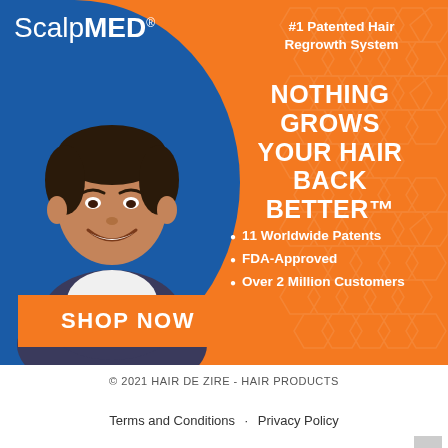[Figure (illustration): ScalpMED advertisement banner with orange background, blue curved area with smiling man, hexagon pattern overlay, logo, headline text, bullet points, and Shop Now button]
ScalpMED®
#1 Patented Hair Regrowth System
NOTHING GROWS YOUR HAIR BACK BETTER™
11 Worldwide Patents
FDA-Approved
Over 2 Million Customers
SHOP NOW
© 2021 HAIR DE ZIRE - HAIR PRODUCTS
Terms and Conditions · Privacy Policy